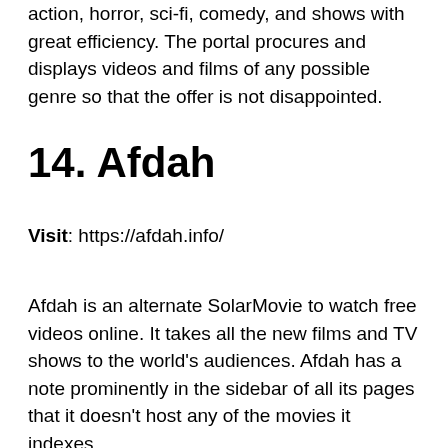action, horror, sci-fi, comedy, and shows with great efficiency. The portal procures and displays videos and films of any possible genre so that the offer is not disappointed.
14. Afdah
Visit: https://afdah.info/
Afdah is an alternate SolarMovie to watch free videos online. It takes all the new films and TV shows to the world's audiences. Afdah has a note prominently in the sidebar of all its pages that it doesn't host any of the movies it indexes.